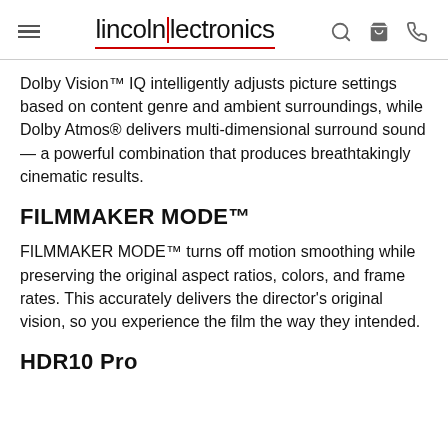lincoln|lectronics
Dolby Vision™ IQ intelligently adjusts picture settings based on content genre and ambient surroundings, while Dolby Atmos® delivers multi-dimensional surround sound — a powerful combination that produces breathtakingly cinematic results.
FILMMAKER MODE™
FILMMAKER MODE™ turns off motion smoothing while preserving the original aspect ratios, colors, and frame rates. This accurately delivers the director's original vision, so you experience the film the way they intended.
HDR10 Pro